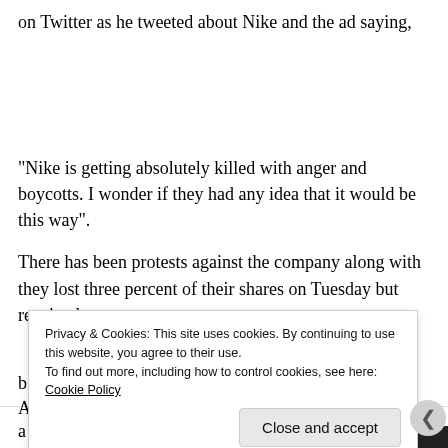on Twitter as he tweeted about Nike and the ad saying,
“Nike is getting absolutely killed with anger and boycotts. I wonder if they had any idea that it would be this way”.
There has been protests against the company along with they lost three percent of their shares on Tuesday but regained a
Privacy & Cookies: This site uses cookies. By continuing to use this website, you agree to their use.
To find out more, including how to control cookies, see here: Cookie Policy
Close and accept
Advertisements